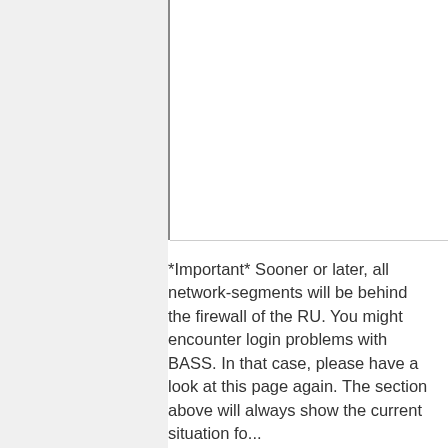*Important* Sooner or later, all network-segments will be behind the firewall of the RU. You might encounter login problems with BASS. In that case, please have a look at this page again. The section above will always show the current situation fo...